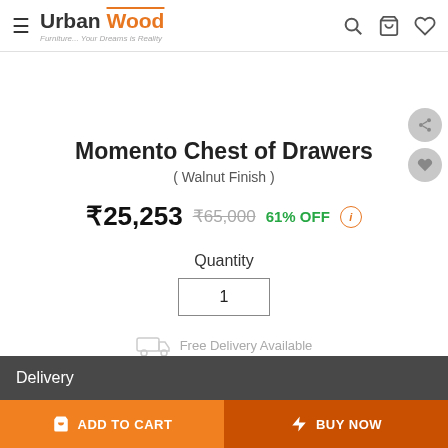Urban Wood — Furniture... Your Dreams is Reality
Momento Chest of Drawers
( Walnut Finish )
₹25,253  ₹65,000  61% OFF
Quantity
1
Free Delivery Available
Delivery
ADD TO CART
BUY NOW